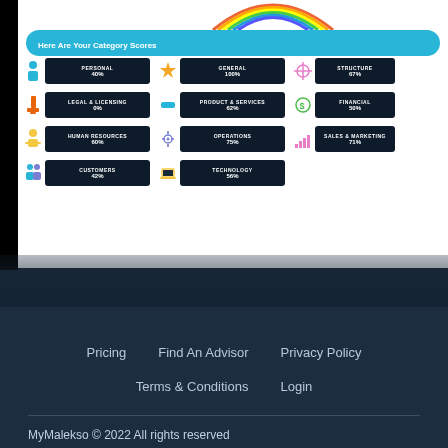[Figure (screenshot): Screenshot of MyMalekso app showing category scores: Personal 40%, General 100%, Structure 67%, Legal & Licensing 0%, Product & Services 62%, Financial 50%, Human Resources 60%, Operations 75%, Sales & Marketing 71%, Customers 42%, Technology 56%]
Pricing
Find An Advisor
Privacy Policy
Terms & Conditions
Login
MyMalekso © 2022 All rights reserved